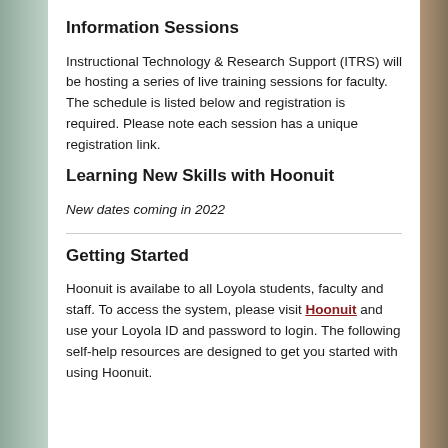Information Sessions
Instructional Technology & Research Support (ITRS) will be hosting a series of live training sessions for faculty. The schedule is listed below and registration is required. Please note each session has a unique registration link.
Learning New Skills with Hoonuit
New dates coming in 2022
Getting Started
Hoonuit is availabe to all Loyola students, faculty and staff. To access the system, please visit Hoonuit and use your Loyola ID and password to login. The following self-help resources are designed to get you started with using Hoonuit.